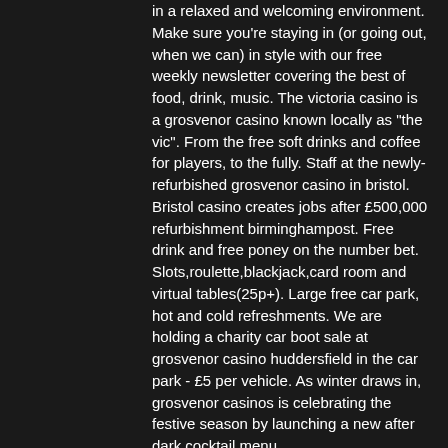in a relaxed and welcoming environment. Make sure you're staying in (or going out, when we can) in style with our free weekly newsletter covering the best of food, drink, music. The victoria casino is a grosvenor casino known locally as &quot;the vic&quot;. From the free soft drinks and coffee for players, to the fully. Staff at the newly-refurbished grosvenor casino in bristol. Bristol casino creates jobs after £500,000 refurbishment birminghampost. Free drink and free poney on the number bet. Slots,roulette,blackjack,card room and virtual tables(25p+). Large free car park, hot and cold refreshments. We are holding a charity car boot sale at grosvenor casino huddersfield in the car park - £5 per vehicle. As winter draws in, grosvenor casinos is celebrating the festive season by launching a new after dark cocktail menu Unlike the provisions of section 849, casino grosvenor free drink